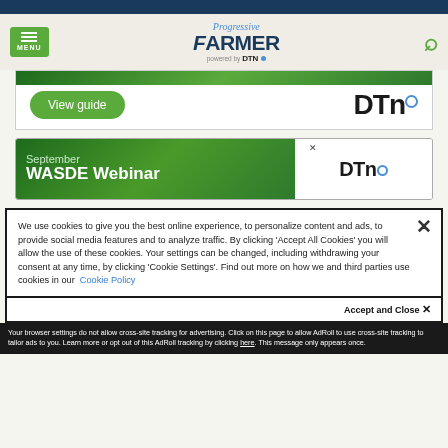Progressive Farmer powered by DTN — navigation header
[Figure (screenshot): Progressive Farmer by DTN website header with menu button, logo, and search icon]
[Figure (screenshot): DTN advertisement banner with 'View guide' button and DTN logo]
[Figure (screenshot): September WASDE Webinar DTN advertisement banner]
We use cookies to give you the best online experience, to personalize content and ads, to provide social media features and to analyze traffic. By clicking 'Accept All Cookies' you will allow the use of these cookies. Your settings can be changed, including withdrawing your consent at any time, by clicking 'Cookie Settings'. Find out more on how we and third parties use cookies in our Cookie Policy
Accept and Close ×
Your browser settings do not allow cross-site tracking for advertising. Click on this page to allow AdRoll to use cross-site tracking to tailor ads to you. Learn more or opt out of this AdRoll tracking by clicking here. This message only appears once.